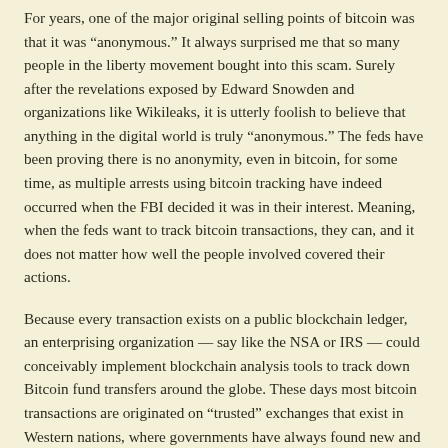For years, one of the major original selling points of bitcoin was that it was “anonymous.” It always surprised me that so many people in the liberty movement bought into this scam. Surely after the revelations exposed by Edward Snowden and organizations like Wikileaks, it is utterly foolish to believe that anything in the digital world is truly “anonymous.” The feds have been proving there is no anonymity, even in bitcoin, for some time, as multiple arrests using bitcoin tracking have indeed occurred when the FBI decided it was in their interest. Meaning, when the feds want to track bitcoin transactions, they can, and it does not matter how well the people involved covered their actions.
Because every transaction exists on a public blockchain ledger, an enterprising organization — say like the NSA or IRS — could conceivably implement blockchain analysis tools to track down Bitcoin fund transfers around the globe. These days most bitcoin transactions are originated on “trusted” exchanges that exist in Western nations, where governments have always found new and innovative ways to ensure citizens have no privacy whatsoever, especially when it comes to personal finances. This means that there is more than likely a record of your original Bitcoin transaction, perhaps involving a credit card or bank transfer, and if regulators